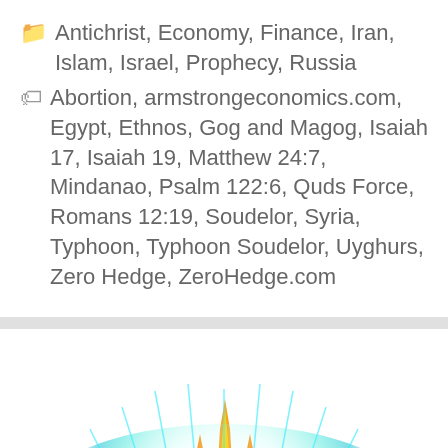📁 Antichrist, Economy, Finance, Iran, Islam, Israel, Prophecy, Russia
🏷 Abortion, armstrongeconomics.com, Egypt, Ethnos, Gog and Magog, Isaiah 17, Isaiah 19, Matthew 24:7, Mindanao, Psalm 122:6, Quds Force, Romans 12:19, Soudelor, Syria, Typhoon, Typhoon Soudelor, Uyghurs, Zero Hedge, ZeroHedge.com
[Figure (illustration): Partial image of a sun or solar corona showing orange/red surface with bright blue-white light rays emanating from the top, cropped at the bottom of the page.]